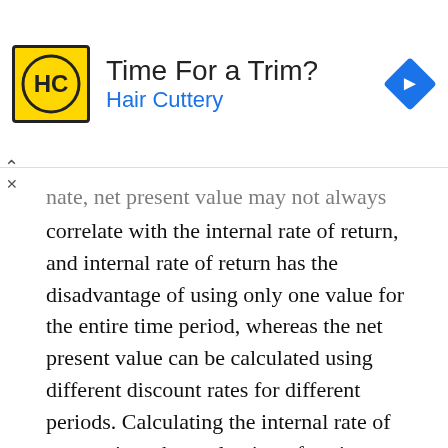[Figure (other): Advertisement banner for Hair Cuttery. Shows the Hair Cuttery logo (HC in a yellow circle with black border), the text 'Time For a Trim?' and 'Hair Cuttery' in blue, and a blue navigation/directions diamond icon on the right.]
...ate, net present value may not always correlate with the internal rate of return, and internal rate of return has the disadvantage of using only one value for the entire time period, whereas the net present value can be calculated using different discount rates for different periods. Calculating the internal rate of return gives the evaluation of project or investment profitability further perspective.